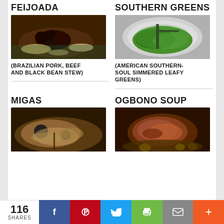FEIJOADA
[Figure (photo): Bowl of feijoada - Brazilian pork, beef and black bean stew with rice and sides]
(BRAZILIAN PORK, BEEF AND BLACK BEAN STEW)
SOUTHERN GREENS
[Figure (photo): Pan of Southern greens - simmered leafy greens with tongs]
(AMERICAN SOUTHERN-SOUL SIMMERED LEAFY GREENS)
MIGAS
[Figure (photo): Skillet of migas - egg and tortilla dish with vegetables and mushrooms]
OGBONO SOUP
[Figure (photo): Bowl of Ogbono soup held in hands - Nigerian soup with meat]
116 SHARES | Facebook | Pinterest | Twitter | Print | Email | +